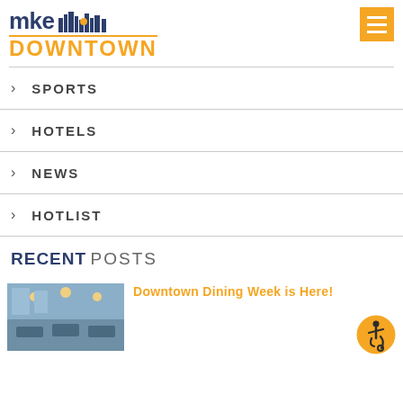[Figure (logo): MKE Downtown logo with city skyline illustration and orange text]
> SPORTS
> HOTELS
> NEWS
> HOTLIST
RECENT POSTS
[Figure (photo): Interior restaurant dining photo]
Downtown Dining Week is Here!